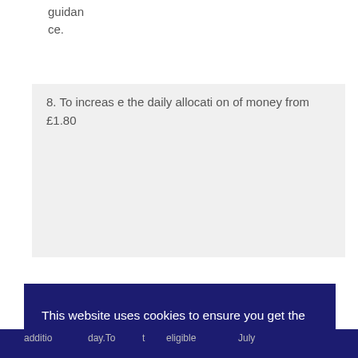guidance.
8. To increase the daily allocation of money from £1.80
This website uses cookies to ensure you get the best experience on our website. Learn more Got it!
additio nal day.To t eligible July